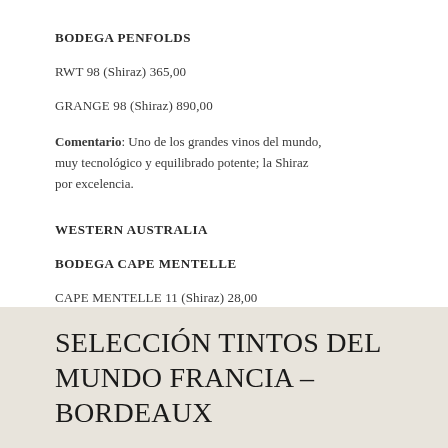BODEGA PENFOLDS
RWT 98 (Shiraz) 365,00
GRANGE 98 (Shiraz) 890,00
Comentario: Uno de los grandes vinos del mundo, muy tecnológico y equilibrado potente; la Shiraz por excelencia.
WESTERN AUSTRALIA
BODEGA CAPE MENTELLE
CAPE MENTELLE 11 (Shiraz) 28,00
SELECCIÓN TINTOS DEL MUNDO FRANCIA – BORDEAUX